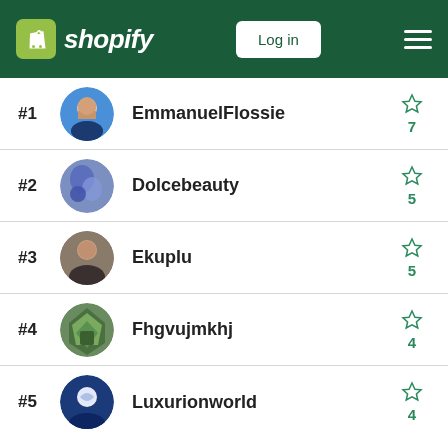Shopify — Log in
#1 EmmanuelFlossie — 7 stars
#2 Dolcebeauty — 5 stars
#3 Ekuplu — 5 stars
#4 Fhgvujmkhj — 4 stars
#5 Luxurionworld — 4 stars